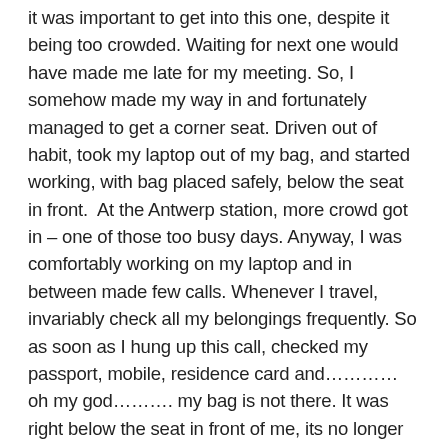it was important to get into this one, despite it being too crowded. Waiting for next one would have made me late for my meeting. So, I somehow made my way in and fortunately managed to get a corner seat. Driven out of habit, took my laptop out of my bag, and started working, with bag placed safely, below the seat in front.  At the Antwerp station, more crowd got in – one of those too busy days. Anyway, I was comfortably working on my laptop and in between made few calls. Whenever I travel, invariably check all my belongings frequently. So as soon as I hung up this call, checked my passport, mobile, residence card and………… oh my god………. my bag is not there. It was right below the seat in front of me, its no longer there now. I was shocked, checked again here and there, all around ….no its gone. Somebody stole my bag. I heard of such thefts earlier, but now it has happened to me. Oh god, why me? Now I started assessing the loss …. what have I lost – my Airpods, Laptop charger, my MontBlanc Pen, Mobile chargers, ID cards…..hey worst of all my old passport. OH MY GOD, what a loss. It's a